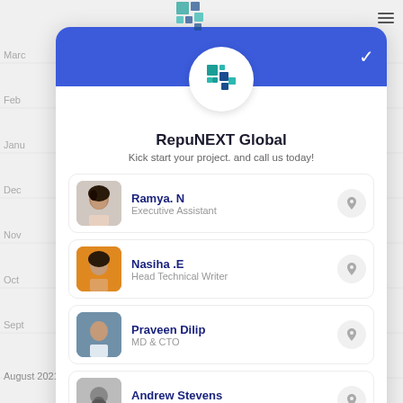[Figure (screenshot): RepuNEXT Global contact card popup showing company logo, tagline, and four contact listings for Ramya N (Executive Assistant), Nasiha E (Head Technical Writer), Praveen Dilip (MD & CTO), and Andrew Stevens (Sales Director)]
RepuNEXT Global
Kick start your project. and call us today!
Ramya. N – Executive Assistant
Nasiha .E – Head Technical Writer
Praveen Dilip – MD & CTO
Andrew Stevens – Sales Director
August 2021